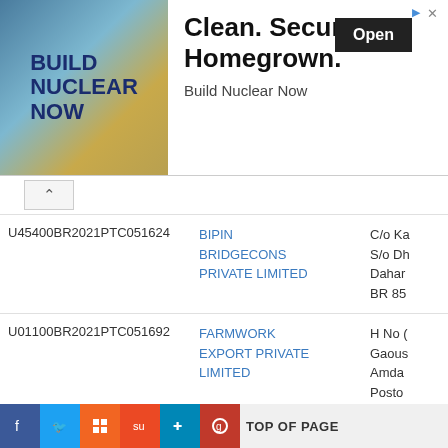[Figure (screenshot): Advertisement banner: 'Build Nuclear Now' with 'Clean. Secure. Homegrown.' text and Open button]
| CIN | Company Name | Address |
| --- | --- | --- |
| U45400BR2021PTC051624 | BIPIN BRIDGECONS PRIVATE LIMITED | C/o Ka... S/o Dh... Dahar... BR 85... |
| U01100BR2021PTC051692 | FARMWORK EXPORT PRIVATE LIMITED | H No ... Gaous... Amda... Posto... Katiha... IN |
| U63030BR2020PTC045720 | BHAWNA TRAVELLING PRIVATE LIMITED | C/O C... S/O B... MIRC... Katiha... |
TOP OF PAGE